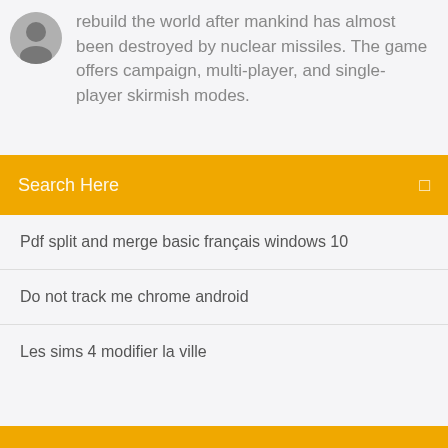rebuild the world after mankind has almost been destroyed by nuclear missiles. The game offers campaign, multi-player, and single-player skirmish modes.
Search Here
Pdf split and merge basic français windows 10
Do not track me chrome android
Les sims 4 modifier la ville